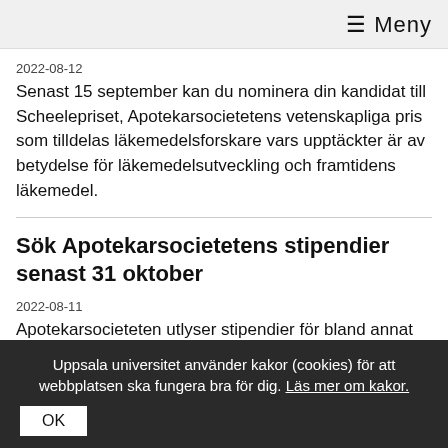≡ Meny
2022-08-12
Senast 15 september kan du nominera din kandidat till Scheelepriset, Apotekarsocietetens vetenskapliga pris som tilldelas läkemedelsforskare vars upptäckter är av betydelse för läkemedelsutveckling och framtidens läkemedel.
Sök Apotekarsocietetens stipendier senast 31 oktober
2022-08-11
Apotekarsocieteten utlyser stipendier för bland annat deltagande vid konferenser och kurser samt för post doc-
Uppsala universitet använder kakor (cookies) för att webbplatsen ska fungera bra för dig. Läs mer om kakor.
OK